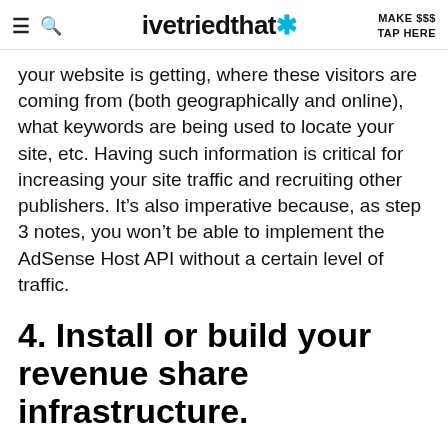ivetriedthat* | MAKE $$$ TAP HERE
your website is getting, where these visitors are coming from (both geographically and online), what keywords are being used to locate your site, etc. Having such information is critical for increasing your site traffic and recruiting other publishers. It's also imperative because, as step 3 notes, you won't be able to implement the AdSense Host API without a certain level of traffic.
4. Install or build your revenue share infrastructure.
Google releases the AdSense Host API only to